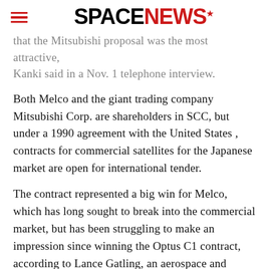SPACENEWS
that the Mitsubishi proposal was the most attractive, Kanki said in a Nov. 1 telephone interview.
Both Melco and the giant trading company Mitsubishi Corp. are shareholders in SCC, but under a 1990 agreement with the United States , contracts for commercial satellites for the Japanese market are open for international tender.
The contract represented a big win for Melco, which has long sought to break into the commercial market, but has been struggling to make an impression since winning the Optus C1 contract, according to Lance Gatling, an aerospace and defense consultant based in Tokyo.
“Despite the fact that SCC is a privately held company